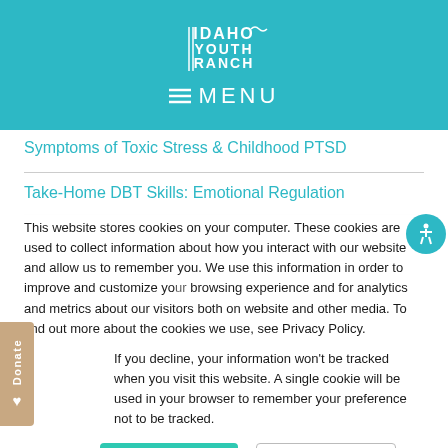[Figure (logo): Idaho Youth Ranch logo with stylized text and decorative elements on teal background]
≡ MENU
Symptoms of Toxic Stress & Childhood PTSD
Take-Home DBT Skills: Emotional Regulation
This website stores cookies on your computer. These cookies are used to collect information about how you interact with our website and allow us to remember you. We use this information in order to improve and customize your browsing experience and for analytics and metrics about our visitors both on website and other media. To find out more about the cookies we use, see Privacy Policy.
If you decline, your information won't be tracked when you visit this website. A single cookie will be used in your browser to remember your preference not to be tracked.
Accept
Decline